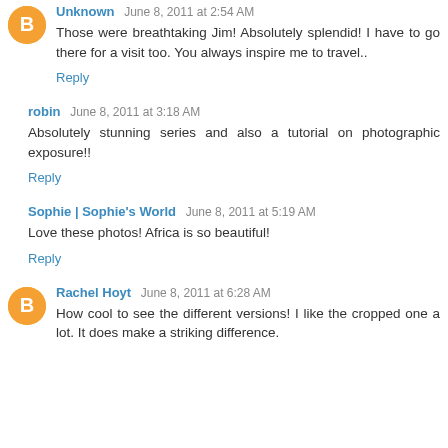Unknown June 8, 2011 at 2:54 AM
Those were breathtaking Jim! Absolutely splendid! I have to go there for a visit too. You always inspire me to travel..
Reply
robin June 8, 2011 at 3:18 AM
Absolutely stunning series and also a tutorial on photographic exposure!!
Reply
Sophie | Sophie's World June 8, 2011 at 5:19 AM
Love these photos! Africa is so beautiful!
Reply
Rachel Hoyt June 8, 2011 at 6:28 AM
How cool to see the different versions! I like the cropped one a lot. It does make a striking difference.